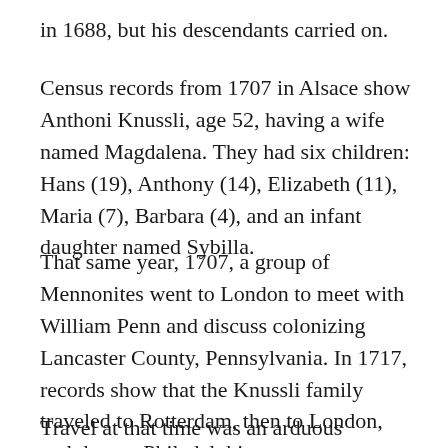in 1688, but his descendants carried on.
Census records from 1707 in Alsace show Anthoni Knussli, age 52, having a wife named Magdalena. They had six children: Hans (19), Anthony (14), Elizabeth (11), Maria (7), Barbara (4), and an infant daughter named Sybilla.
That same year, 1707, a group of Mennonites went to London to meet with William Penn and discuss colonizing Lancaster County, Pennsylvania. In 1717, records show that the Knussli family traveled to Rotterdam, then to London, and then to Philadelphia.
Travel at that time was an arduous undertaking. People